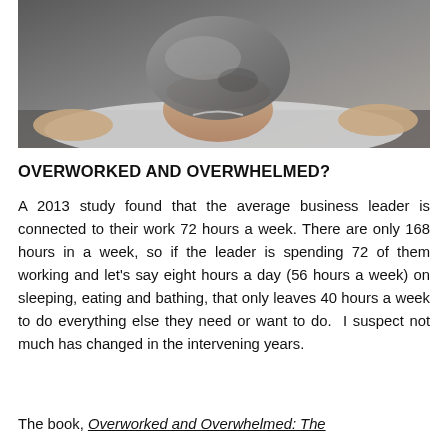[Figure (photo): A man in a white dress shirt lying face-down on a surface with what appears to be a large grey rock or object resting on top of his head, suggesting being overwhelmed or crushed by workload.]
OVERWORKED AND OVERWHELMED?
A 2013 study found that the average business leader is connected to their work 72 hours a week. There are only 168 hours in a week, so if the leader is spending 72 of them working and let's say eight hours a day (56 hours a week) on sleeping, eating and bathing, that only leaves 40 hours a week to do everything else they need or want to do.  I suspect not much has changed in the intervening years.
The book, Overworked and Overwhelmed: The